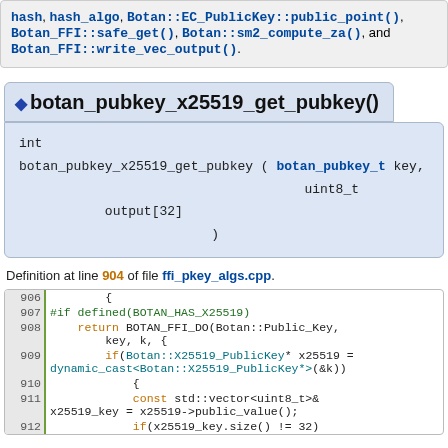hash, hash_algo, Botan::EC_PublicKey::public_point(), Botan_FFI::safe_get(), Botan::sm2_compute_za(), and Botan_FFI::write_vec_output().
◆ botan_pubkey_x25519_get_pubkey()
int botan_pubkey_x25519_get_pubkey ( botan_pubkey_t key, uint8_t output[32] )
Definition at line 904 of file ffi_pkey_algs.cpp.
906  {
907  #if defined(BOTAN_HAS_X25519)
908      return BOTAN_FFI_DO(Botan::Public_Key, key, k, {
         if(Botan::X25519_PublicKey* x25519 = dynamic_cast<Botan::X25519_PublicKey*>(&k))
910          {
911          const std::vector<uint8_t>& x25519_key = x25519->public_value();
912          if(x25519_key.size() != 32)